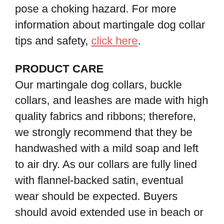pose a choking hazard. For more information about martingale dog collar tips and safety, click here.
PRODUCT CARE
Our martingale dog collars, buckle collars, and leashes are made with high quality fabrics and ribbons; therefore, we strongly recommend that they be handwashed with a mild soap and left to air dry. As our collars are fully lined with flannel-backed satin, eventual wear should be expected. Buyers should avoid extended use in beach or saltwater settings, as the salt may discolor fabrics and/or metal hardware.
PAYMENT
All payments can be made online securely through Paypal or with your debit or credit card. All